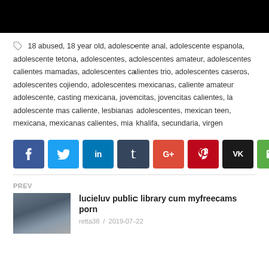[Figure (screenshot): Black video player thumbnail at top of page]
18 abused, 18 year old, adolescente anal, adolescente espanola, adolescente tetona, adolescentes, adolescentes amateur, adolescentes calientes mamadas, adolescentes calientes trio, adolescentes caseros, adolescentes cojiendo, adolescentes mexicanas, caliente amateur adolescente, casting mexicana, jovencitas, jovencitas calientes, la adolescente mas caliente, lesbianas adolescentes, mexican teen, mexicana, mexicanas calientes, mia khalifa, secundaria, virgen
[Figure (infographic): Row of social media share buttons: Facebook, Twitter, LinkedIn, Tumblr, Google+, Pinterest, VK, Email]
PREV
[Figure (photo): Thumbnail image for previous post]
lucieluv public library cum myfreecams porn
retta38 / 2019-07-22